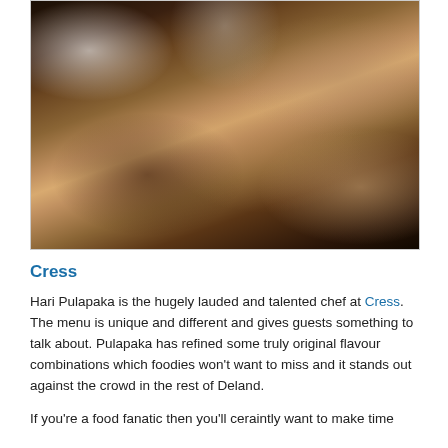[Figure (photo): A chef in white uniform stands at a dining table speaking with restaurant guests. Diners are seated around a wooden table set with white plates and wine glasses. In the background, another chef in a tall white hat is visible through a kitchen window. A wooden cabinet with dishes lines the wall on the right.]
Cress
Hari Pulapaka is the hugely lauded and talented chef at Cress. The menu is unique and different and gives guests something to talk about. Pulapaka has refined some truly original flavour combinations which foodies won't want to miss and it stands out against the crowd in the rest of Deland.
If you're a food fanatic then you'll ceraintly want to make time